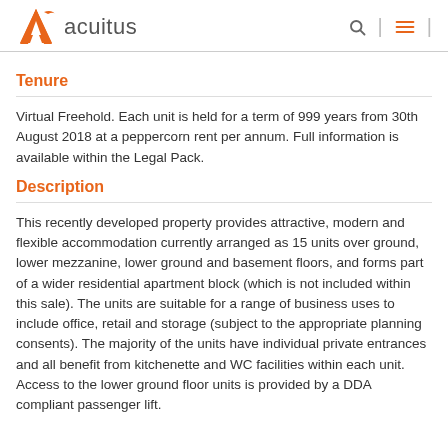acuitus
Tenure
Virtual Freehold. Each unit is held for a term of 999 years from 30th August 2018 at a peppercorn rent per annum. Full information is available within the Legal Pack.
Description
This recently developed property provides attractive, modern and flexible accommodation currently arranged as 15 units over ground, lower mezzanine, lower ground and basement floors, and forms part of a wider residential apartment block (which is not included within this sale). The units are suitable for a range of business uses to include office, retail and storage (subject to the appropriate planning consents). The majority of the units have individual private entrances and all benefit from kitchenette and WC facilities within each unit. Access to the lower ground floor units is provided by a DDA compliant passenger lift.